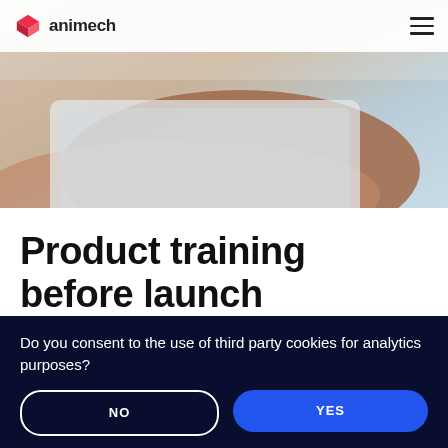animech
[Figure (photo): Hero image showing a person working with a laptop or tablet, with blurred warm-toned background]
Product training before launch
Do you consent to the use of third party cookies for analytics purposes?
NO
YES